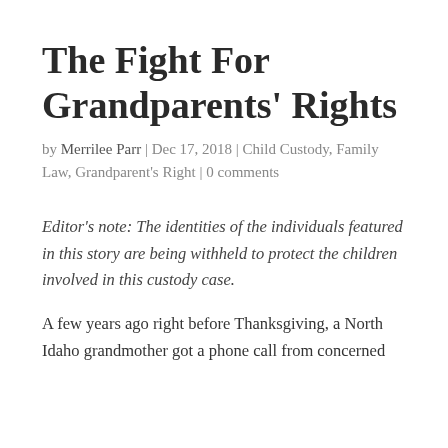The Fight For Grandparents' Rights
by Merrilee Parr | Dec 17, 2018 | Child Custody, Family Law, Grandparent's Right | 0 comments
Editor's note: The identities of the individuals featured in this story are being withheld to protect the children involved in this custody case.
A few years ago right before Thanksgiving, a North Idaho grandmother got a phone call from concerned